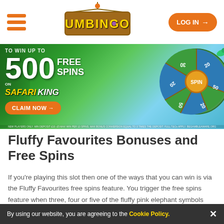Umbingo — LOG IN
[Figure (illustration): Casino promotional banner: TO WIN UP TO 500 FREE SPINS ON SAFARI KING with CLAIM NOW button and a spin wheel graphic on the right. Fine print text at the bottom.]
Fluffy Favourites Bonuses and Free Spins
If you're playing this slot then one of the ways that you can win is via the Fluffy Favourites free spins feature. You trigger the free spins feature when three, four or five of the fluffy pink elephant symbols appear on the reels. Three symbols give you 15 extra spins, four will award 20 s... elephants.
By using our website, you are agreeing to the Cookie Policy.